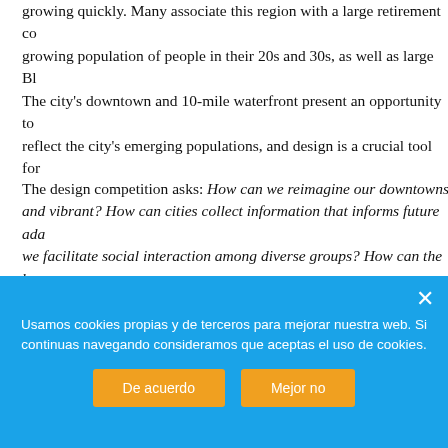growing quickly. Many associate this region with a large retirement community, but it has a growing population of people in their 20s and 30s, as well as large Bl... The city's downtown and 10-mile waterfront present an opportunity to reflect the city's emerging populations, and design is a crucial tool for...
The design competition asks: How can we reimagine our downtowns and vibrant? How can cities collect information that informs future ada... we facilitate social interaction among diverse groups? How can the b... residents' physical health, mental health, and social capital?
Today we present the first post of the series, starting the narration of the first chapter introduces the previous analysis and the general strategi... the project areas.
Usamos cookies propias y de terceros para mejorar nuestra web. Si continuas navegando consideramos que aceptas el uso de cookies.